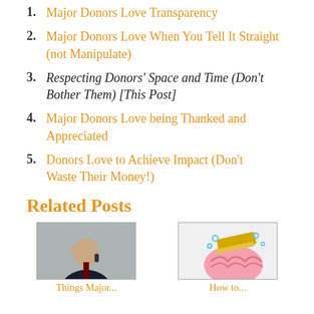1. Major Donors Love Transparency
2. Major Donors Love When You Tell It Straight (not Manipulate)
3. Respecting Donors' Space and Time (Don't Bother Them) [This Post]
4. Major Donors Love being Thanked and Appreciated
5. Donors Love to Achieve Impact (Don't Waste Their Money!)
Related Posts
[Figure (photo): Man in suit sitting at desk, stressed, holding his head with one hand and a phone]
[Figure (illustration): Illustrated brain with a eraser/pencil scrubbing it, with small bubbles/sparks around it]
Things Major...
How to...